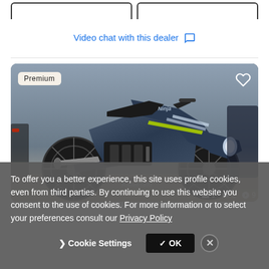Video chat with this dealer 💬
[Figure (photo): Kawasaki Ninja motorcycle in dark blue/grey, parked indoors in a showroom. Badge 'Premium' in top-left corner, heart icon top-right. Bottom icons show: 1 panorama, 1 video, 9 photos.]
To offer you a better experience, this site uses profile cookies, even from third parties. By continuing to use this website you consent to the use of cookies. For more information or to select your preferences consult our Privacy Policy
❯ Cookie Settings   ✓ OK   ✕